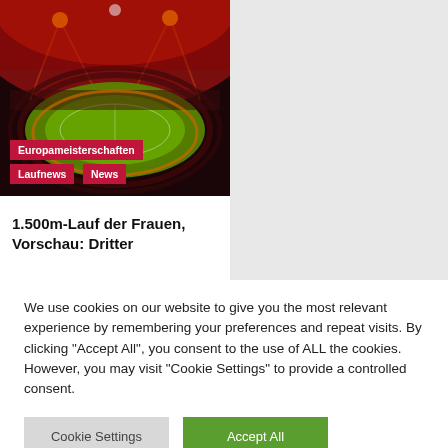[Figure (photo): Aerial view of a stadium with red atmospheric lighting and a green field, taken at night during a major athletics event.]
Europameisterschaften
Laufnews
News
1.500m-Lauf der Frauen, Vorschau: Dritter
We use cookies on our website to give you the most relevant experience by remembering your preferences and repeat visits. By clicking "Accept All", you consent to the use of ALL the cookies. However, you may visit "Cookie Settings" to provide a controlled consent.
Cookie Settings
Accept All